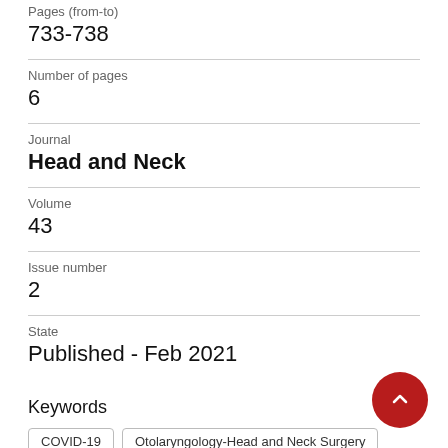Pages (from-to)
733-738
Number of pages
6
Journal
Head and Neck
Volume
43
Issue number
2
State
Published - Feb 2021
Keywords
COVID-19
Otolaryngology-Head and Neck Surgery